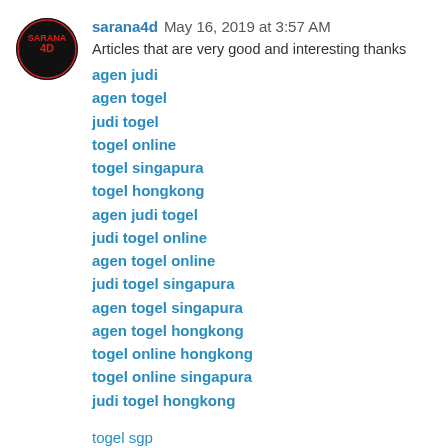sarana4d  May 16, 2019 at 3:57 AM
Articles that are very good and interesting thanks
agen judi
agen togel
judi togel
togel online
togel singapura
togel hongkong
agen judi togel
judi togel online
agen togel online
judi togel singapura
agen togel singapura
agen togel hongkong
togel online hongkong
togel online singapura
judi togel hongkong
togel sgp
togel hkg
togel sidney
hasil togel